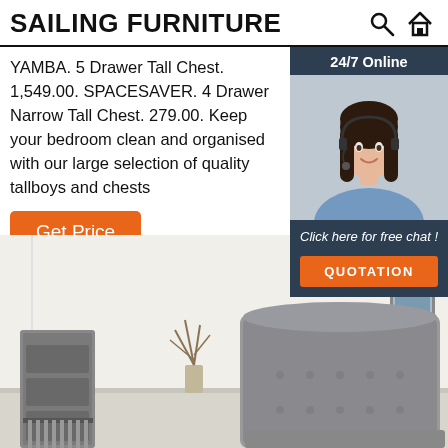SAILING FURNITURE
YAMBA. 5 Drawer Tall Chest. 1,549.00. SPACESAVER. 4 Drawer Narrow Tall Chest. 279.00. Keep your bedroom clean and organised with our large selection of quality tallboys and chests
Get Price
[Figure (infographic): 24/7 Online chat widget with a woman wearing a headset, dark background, 'Click here for free chat!' text and orange QUOTATION button]
[Figure (photo): Bedroom scene with grey upholstered bed frame, white walls, framed artwork, and a plant on the floor]